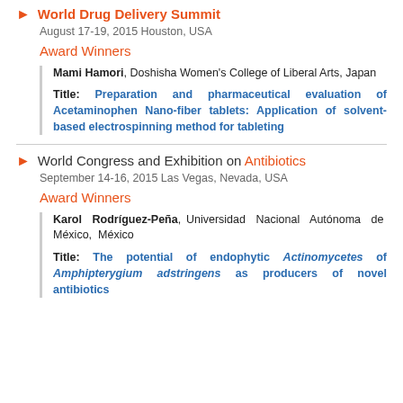World Drug Delivery Summit
August 17-19, 2015 Houston, USA
Award Winners
Mami Hamori, Doshisha Women's College of Liberal Arts, Japan
Title: Preparation and pharmaceutical evaluation of Acetaminophen Nano-fiber tablets: Application of solvent-based electrospinning method for tableting
World Congress and Exhibition on Antibiotics
September 14-16, 2015 Las Vegas, Nevada, USA
Award Winners
Karol Rodríguez-Peña, Universidad Nacional Autónoma de México, México
Title: The potential of endophytic Actinomycetes of Amphipterygium adstringens as producers of novel antibiotics